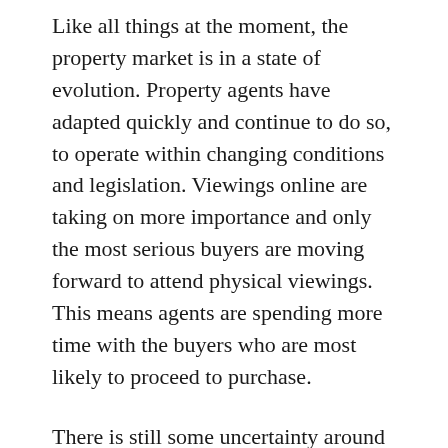Like all things at the moment, the property market is in a state of evolution. Property agents have adapted quickly and continue to do so, to operate within changing conditions and legislation. Viewings online are taking on more importance and only the most serious buyers are moving forward to attend physical viewings. This means agents are spending more time with the buyers who are most likely to proceed to purchase.
There is still some uncertainty around the long-term impact of the pandemic on the housing market, particularly when government support measures come to an end, but the government has announced a number of initiatives to help economic recovery. The stamp duty freeze on properties up to £500,000 provides significant savings for buyers. This is in place